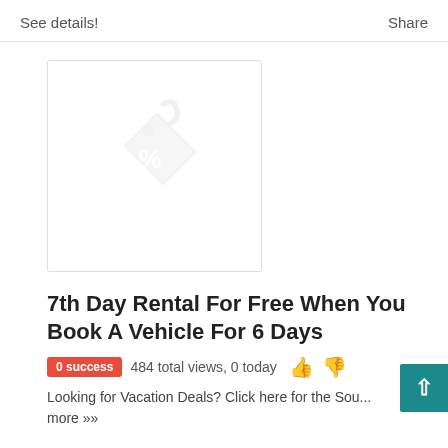See details!    Share
[Figure (illustration): A placeholder image box with a faint discount/price tag icon (tag with percent symbol) in the center, bordered with a light gray border]
7th Day Rental For Free When You Book A Vehicle For 6 Days
0 success   484 total views, 0 today  👍 👎
Looking for Vacation Deals? Click here for the Sou... more »»